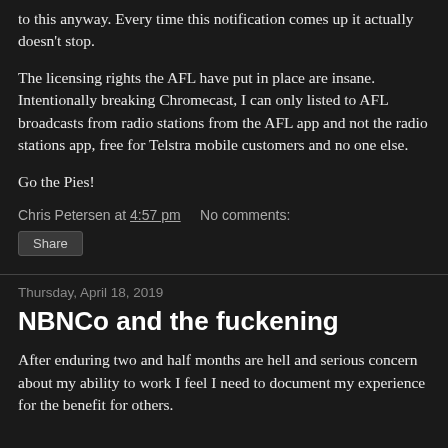to this anyway. Every time this notification comes up it actually doesn't stop.
The licensing rights the AFL have put in place are insane. Intentionally breaking Chromecast, I can only listed to AFL broadcasts from radio stations from the AFL app and not the radio stations app, free for Telstra mobile customers and no one else.
Go the Pies!
Chris Petersen at 4:57 pm   No comments:
Share
Thursday, April 18, 2019
NBNCo and the fuckening
After enduring two and half months are hell and serious concern about my ability to work I feel I need to document my experience for the benefit for others.